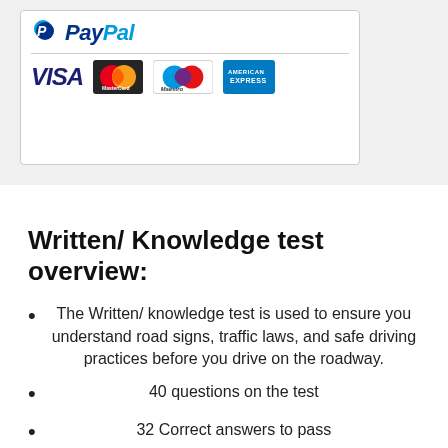[Figure (logo): Payment logos showing PayPal, VISA, MasterCard, Maestro, and American Express]
Written/ Knowledge test overview:
The Written/ knowledge test is used to ensure you understand road signs, traffic laws, and safe driving practices before you drive on the roadway.
40 questions on the test
32 Correct answers to pass